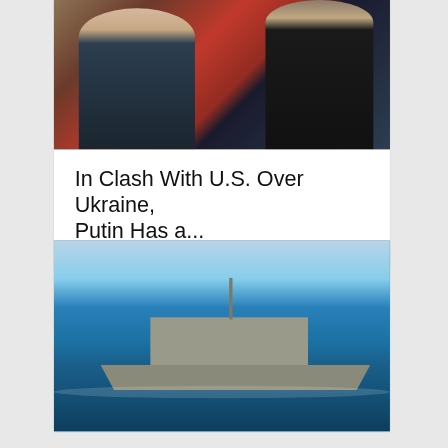[Figure (photo): Two men in suits facing each other and gesturing with hands against a red background, appearing to be Putin and Xi Jinping at a diplomatic meeting]
In Clash With U.S. Over Ukraine, Putin Has a...
[Figure (photo): US Navy littoral combat ship sailing on blue ocean water, with an American flag visible on its mast]